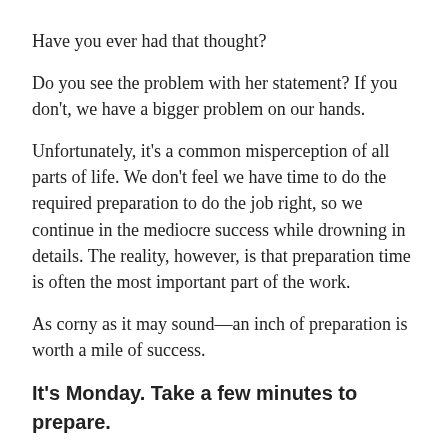Have you ever had that thought?
Do you see the problem with her statement? If you don't, we have a bigger problem on our hands.
Unfortunately, it's a common misperception of all parts of life. We don't feel we have time to do the required preparation to do the job right, so we continue in the mediocre success while drowning in details. The reality, however, is that preparation time is often the most important part of the work.
As corny as it may sound—an inch of preparation is worth a mile of success.
It's Monday. Take a few minutes to prepare.
It will make the rest of the week much easier and more effective. I start each week with some clear objectives. I want to know what I need to accomplish for the week. These are usually broad, and I list them in the form of a checklist. (Sermon, write quarterly newsletter, prepare for staff meeting, prepare for